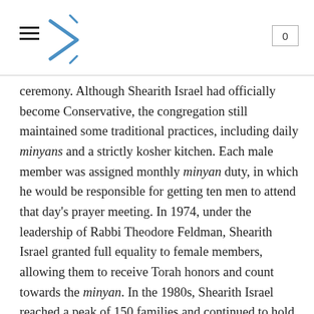0
ceremony. Although Shearith Israel had officially become Conservative, the congregation still maintained some traditional practices, including daily minyans and a strictly kosher kitchen. Each male member was assigned monthly minyan duty, in which he would be responsible for getting ten men to attend that day's prayer meeting. In 1974, under the leadership of Rabbi Theodore Feldman, Shearith Israel granted full equality to female members, allowing them to receive Torah honors and count towards the minyan. In the 1980s, Shearith Israel reached a peak of 150 families and continued to hold daily minyans. The congregation also had a kosher meat co-op, in which 30 members banded together to order kosher meat from Chicago and Atlanta several times a year.